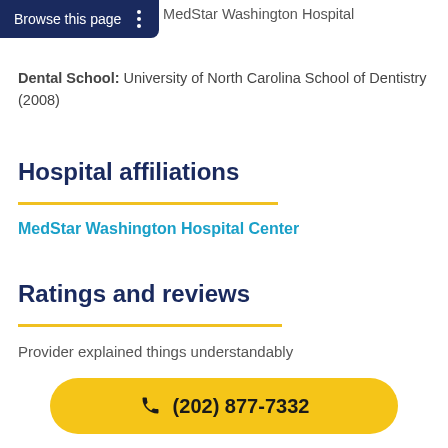Residency Program: MedStar Washington Hospital
Browse this page
Dental School: University of North Carolina School of Dentistry (2008)
Hospital affiliations
MedStar Washington Hospital Center
Ratings and reviews
Provider explained things understandably
(202) 877-7332